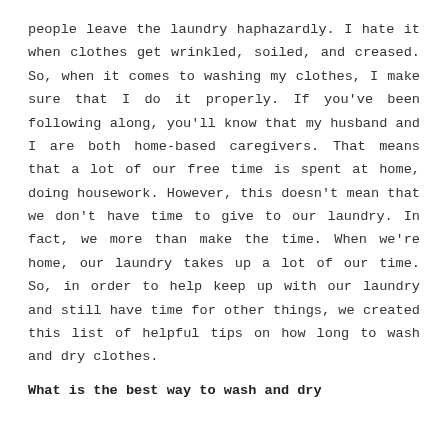people leave the laundry haphazardly. I hate it when clothes get wrinkled, soiled, and creased. So, when it comes to washing my clothes, I make sure that I do it properly. If you've been following along, you'll know that my husband and I are both home-based caregivers. That means that a lot of our free time is spent at home, doing housework. However, this doesn't mean that we don't have time to give to our laundry. In fact, we more than make the time. When we're home, our laundry takes up a lot of our time. So, in order to help keep up with our laundry and still have time for other things, we created this list of helpful tips on how long to wash and dry clothes.
What is the best way to wash and dry